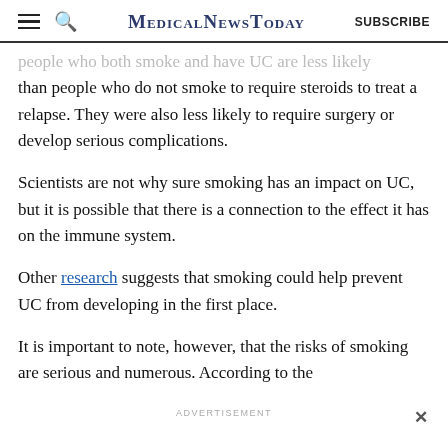MedicalNewsToday SUBSCRIBE
people who both smoke and have UC are less likely than people who do not smoke to require steroids to treat a relapse. They were also less likely to require surgery or develop serious complications.
Scientists are not why sure smoking has an impact on UC, but it is possible that there is a connection to the effect it has on the immune system.
Other research suggests that smoking could help prevent UC from developing in the first place.
It is important to note, however, that the risks of smoking are serious and numerous. According to the
ADVERTISEMENT